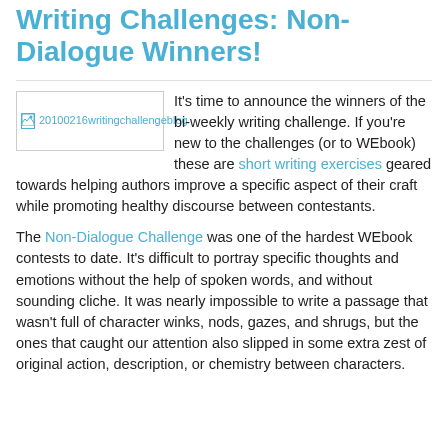Writing Challenges: Non-Dialogue Winners!
[Figure (photo): Blog image placeholder labeled '20100216writingchallengeblog']
It's time to announce the winners of the bi-weekly writing challenge. If you're new to the challenges (or to WEbook) these are short writing exercises geared towards helping authors improve a specific aspect of their craft while promoting healthy discourse between contestants.
The Non-Dialogue Challenge was one of the hardest WEbook contests to date. It's difficult to portray specific thoughts and emotions without the help of spoken words, and without sounding cliche. It was nearly impossible to write a passage that wasn't full of character winks, nods, gazes, and shrugs, but the ones that caught our attention also slipped in some extra zest of original action, description, or chemistry between characters.